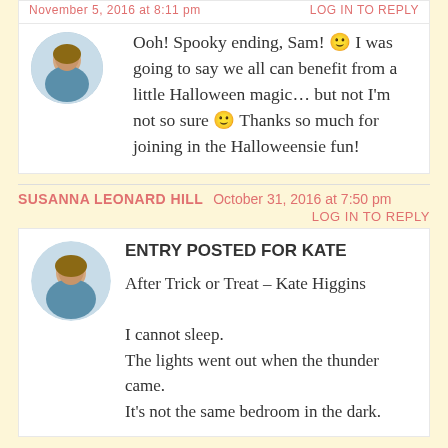November 5, 2016 at 8:11 pm    LOG IN TO REPLY
Ooh! Spooky ending, Sam! 🙂 I was going to say we all can benefit from a little Halloween magic... but not I'm not so sure 🙂 Thanks so much for joining in the Halloweensie fun!
SUSANNA LEONARD HILL   October 31, 2016 at 7:50 pm
LOG IN TO REPLY
ENTRY POSTED FOR KATE

After Trick or Treat – Kate Higgins

I cannot sleep.
The lights went out when the thunder came.
It's not the same bedroom in the dark.